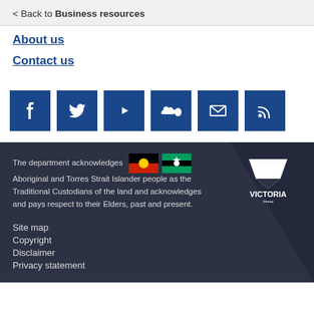< Back to Business resources
About us
Contact us
[Figure (infographic): Six social media icon buttons in blue squares: Facebook, Twitter, YouTube, SoundCloud, Email, RSS]
The department acknowledges Aboriginal and Torres Strait Islander people as the Traditional Custodians of the land and acknowledges and pays respect to their Elders, past and present.
[Figure (logo): Victoria State Government logo]
Site map
Copyright
Disclaimer
Privacy statement